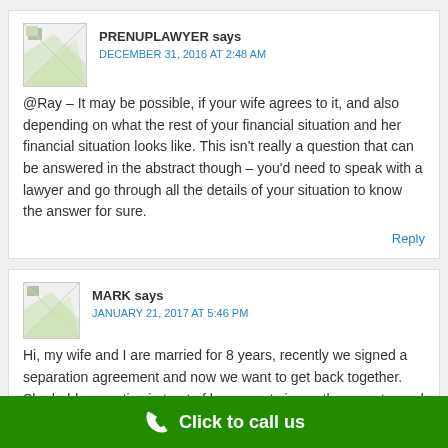PRENUPLAWYER says
DECEMBER 31, 2016 AT 2:48 AM
@Ray – It may be possible, if your wife agrees to it, and also depending on what the rest of your financial situation and her financial situation looks like. This isn't really a question that can be answered in the abstract though – you'd need to speak with a lawyer and go through all the details of your situation to know the answer for sure.
Reply
MARK says
JANUARY 21, 2017 AT 5:46 PM
Hi, my wife and I are married for 8 years, recently we signed a separation agreement and now we want to get back together. She held properties in trust of her parents in another country and her parents want us
Click to call us